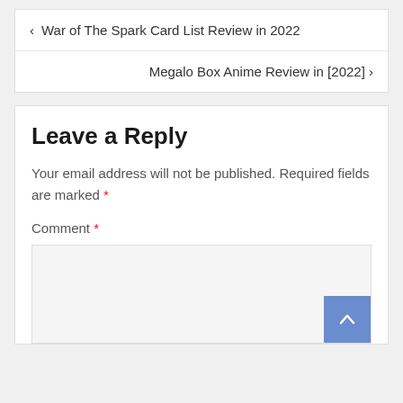< War of The Spark Card List Review in 2022
Megalo Box Anime Review in [2022] >
Leave a Reply
Your email address will not be published. Required fields are marked *
Comment *